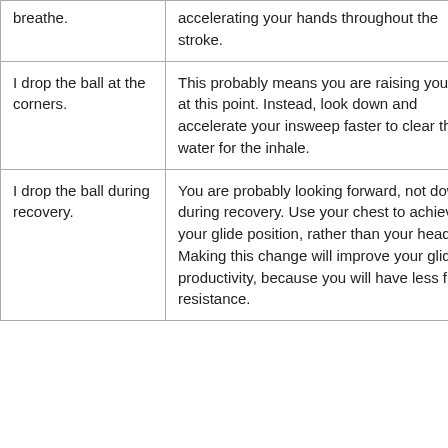| breathe. | accelerating your hands throughout the stroke. |
| I drop the ball at the corners. | This probably means you are raising your chin at this point. Instead, look down and accelerate your insweep faster to clear the water for the inhale. |
| I drop the ball during recovery. | You are probably looking forward, not down during recovery. Use your chest to achieve your glide position, rather than your head. Making this change will improve your glide productivity, because you will have less frontal resistance. |